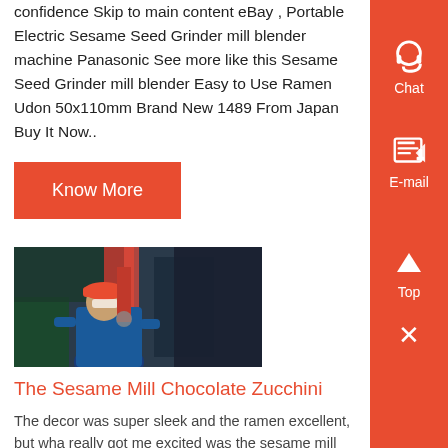confidence Skip to main content eBay , Portable Electric Sesame Seed Grinder mill blender machine Panasonic See more like this Sesame Seed Grinder mill blender Easy to Use Ramen Udon 50x110mm Brand New 1489 From Japan Buy It Now..
Know More
[Figure (photo): Worker in blue uniform and red hard hat operating industrial machinery, likely a sesame mill or grinder in a factory setting]
The Sesame Mill Chocolate Zucchini
The decor was super sleek and the ramen excellent, but wha really got me excited was the sesame mill that was propped on our table, keeping the shôyu company It was a simple thing, really a plastic see-through container filled with